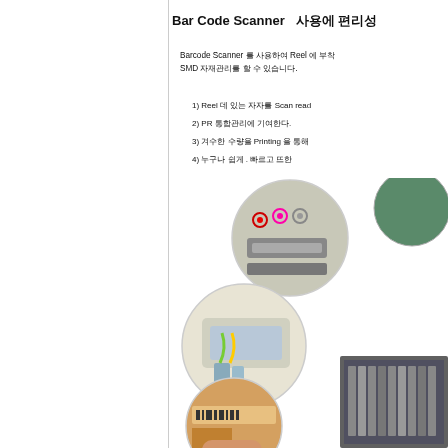Bar Code Scanner   사용에 편리성
Barcode Scanner 를 사용하여 Reel 에 부착된 바코드로 SMD 자재관리를 할 수 있습니다.
1) Reel 데 있는 자자를 Scan read
2) PR 통합관리에 기여한다.
3) 겨수한 수량을 Printing 을 통해
4) 누구나 쉽게 . 빠르고 뜨한
[Figure (photo): Multiple circular cropped photos showing barcode scanner usage on SMD reels and components, plus a rectangular photo of SMD tape reels on right side]